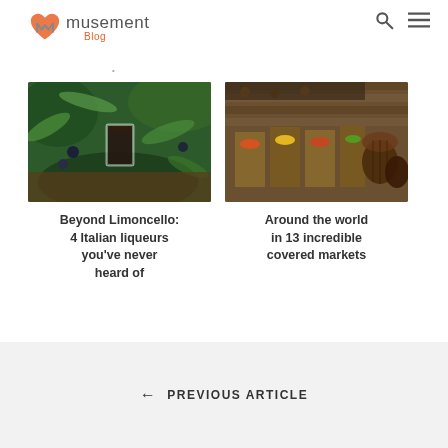musement Blog
[Figure (photo): A shot glass of dark liqueur surrounded by juniper berries and green foliage on a wooden surface]
Beyond Limoncello: 4 Italian liqueurs you've never heard of
[Figure (photo): A covered outdoor market with wooden stalls displaying colorful produce, with barrels and rustic wooden architecture]
Around the world in 13 incredible covered markets
← PREVIOUS ARTICLE